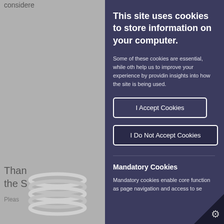This site uses cookies to store information on your computer.
Some of these cookies are essential, while others help us to improve your experience by providing insights into how the site is being used.
I Accept Cookies
I Do Not Accept Cookies
Mandatory Cookies
Mandatory cookies enable core functionality such as page navigation and access to se